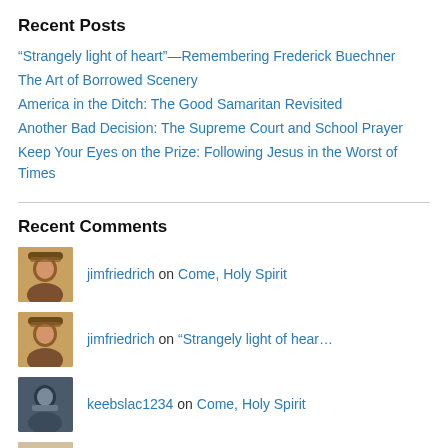Recent Posts
“Strangely light of heart”—Remembering Frederick Buechner
The Art of Borrowed Scenery
America in the Ditch: The Good Samaritan Revisited
Another Bad Decision: The Supreme Court and School Prayer
Keep Your Eyes on the Prize: Following Jesus in the Worst of Times
Recent Comments
jimfriedrich on Come, Holy Spirit
jimfriedrich on “Strangely light of hear…
keebslac1234 on Come, Holy Spirit
Rebecca Ditmore on “Strangely light of hear…